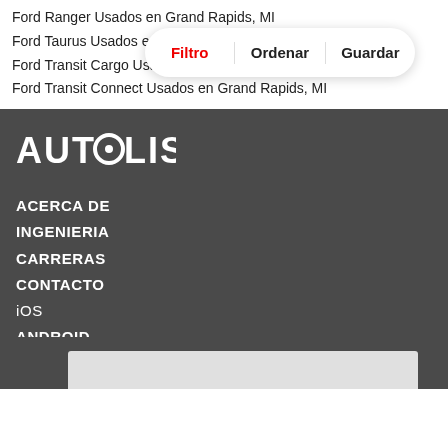Ford Ranger Usados en Grand Rapids, MI
Ford Taurus Usados en Grand Rapids, MI
Ford Transit Cargo Usados en Grand Rapids, MI
Ford Transit Connect Usados en Grand Rapids, MI
[Figure (screenshot): Overlay toolbar with three buttons: Filtro (red), Ordenar, Guardar on a white pill-shaped bar]
[Figure (logo): AUTOLIST logo in white on dark background]
ACERCA DE
INGENIERIA
CARRERAS
CONTACTO
iOS
ANDROID